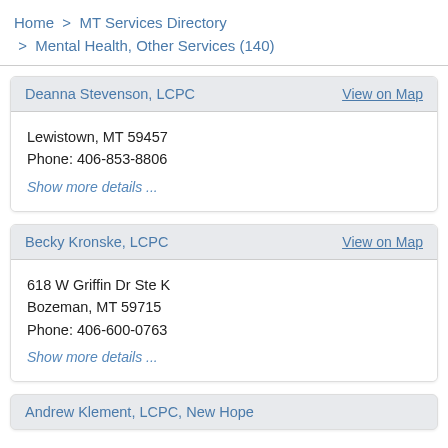Home > MT Services Directory > Mental Health, Other Services (140)
Deanna Stevenson, LCPC
Lewistown, MT 59457
Phone: 406-853-8806
Show more details ...
Becky Kronske, LCPC
618 W Griffin Dr Ste K
Bozeman, MT 59715
Phone: 406-600-0763
Show more details ...
Andrew Klement, LCPC, New Hope